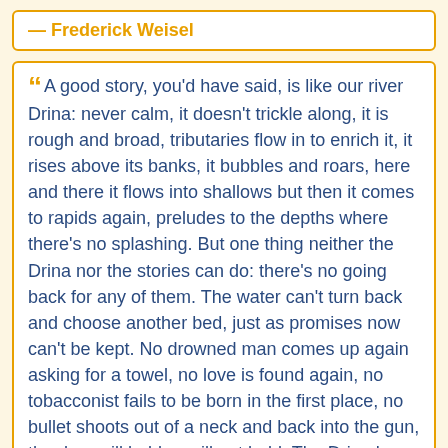— Frederick Weisel
A good story, you'd have said, is like our river Drina: never calm, it doesn't trickle along, it is rough and broad, tributaries flow in to enrich it, it rises above its banks, it bubbles and roars, here and there it flows into shallows but then it comes to rapids again, preludes to the depths where there's no splashing. But one thing neither the Drina nor the stories can do: there's no going back for any of them. The water can't turn back and choose another bed, just as promises now can't be kept. No drowned man comes up again asking for a towel, no love is found again, no tobacconist fails to be born in the first place, no bullet shoots out of a neck and back into the gun, the dam will hold or will not hold. The Drina has no delta.